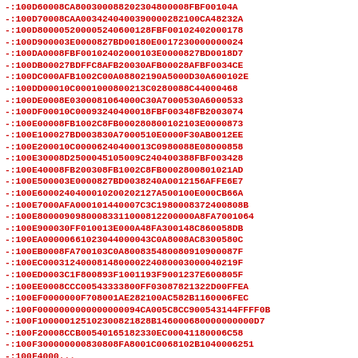-:100D60008CA800300088202304800008FBF00104A
-:100D70008CAA0034240400390000282100CA48232A
-:100D800005200005240600128FBF00102402000178
-:100D900003E0000827BD00180E001723000000024
-:100DA0008FBF00102402000103E0000827BD0018D7
-:100DB00027BDFFC8AFB20030AFB000284FBF0034CE
-:100DC000AFB1002C00A08802190A5000D30A600102E
-:100DD00010C0001000800213C0280088C44000468
-:100DE0008E030008106400C30A7000530A6000533
-:100DF00010C00093240400018FBF00348FB2003074
-:100E00008FB1002C8FB000028001021 03E0000873
-:100E100027BD003830A7000510E0000F30AB0012EE
-:100E200010C0000624040013C0980088E08000858
-:100E30008D250004510500 9C240400388FBF003428
-:100E40008FB200308FB1002C8FB00028008010 21AD
-:100E500003E0000827BD0038240A0012156AFFE6E7
-:100E6000240400010200202127A500100E000CB66A
-:100E7000AFA000101440007C3C198000837240 0808B
-:100E800009098000833110008122 00000A8FA7001064
-:100E900030FF010013E000A48FA300148C860058DB
-:100EA00000661023044000043C0A8008AC8300580C
-:100EB0008FA700103C0A800835480080910900087F
-:100EC000312400081480000224080003000040219F
-:100ED0003C1F800893F10011 93F9001237E600805F
-:100EE0008CCC00543333800FF03087821322D00FFEA
-:100EF0000000F708001AE282100AC582B1160006FEC
-:100F000000000000000094CA005C8CC900543144FFFF0B
-:100F100000125102300821828B14600068000000000D7
-:100F20008CCB005401651823 30EC00041180006C58
-:100F300000000830808FA8001C0068102B1040006251
-:100F4000...